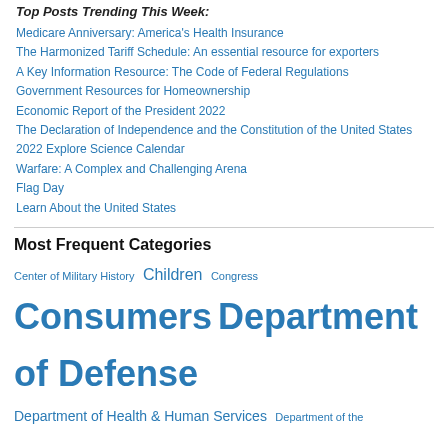Top Posts Trending This Week:
Medicare Anniversary: America's Health Insurance
The Harmonized Tariff Schedule: An essential resource for exporters
A Key Information Resource: The Code of Federal Regulations
Government Resources for Homeownership
Economic Report of the President 2022
The Declaration of Independence and the Constitution of the United States
2022 Explore Science Calendar
Warfare: A Complex and Challenging Arena
Flag Day
Learn About the United States
Most Frequent Categories
Center of Military History  Children  Congress  Consumers  Department of Defense  Department of Health & Human Services  Department of the